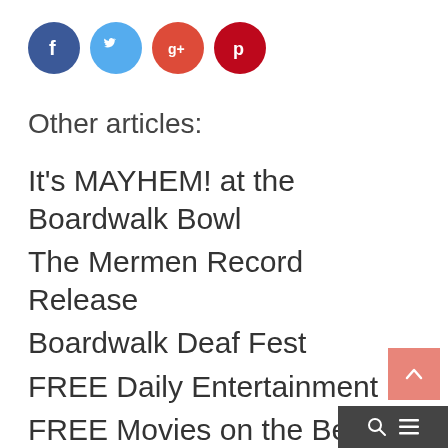[Figure (other): Social media icon buttons: Facebook (blue circle with f), Twitter (light blue circle with bird), Google+ (red-orange circle with g+), Pinterest (dark red circle with P)]
Other articles:
It's MAYHEM! at the Boardwalk Bowl
The Mermen Record Release
Boardwalk Deaf Fest
FREE Daily Entertainment
FREE Movies on the Beach